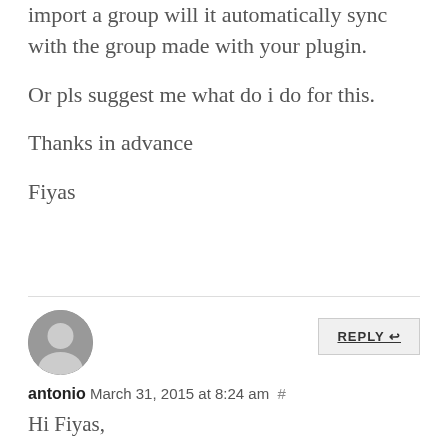import a group will it automatically sync with the group made with your plugin.
Or pls suggest me what do i do for this.
Thanks in advance
Fiyas
antonio March 31, 2015 at 8:24 am #
Hi Fiyas,
1.- Destinations groups are selected in the settings (not in the file). You could create different import files